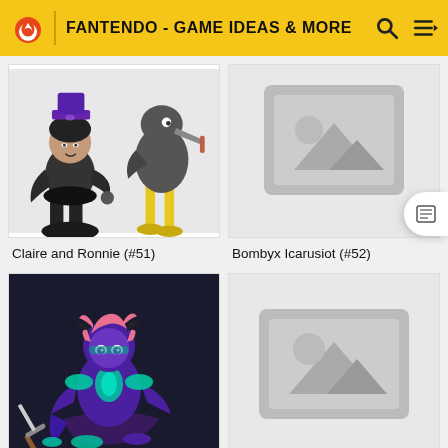FANTENDO - GAME IDEAS & MORE
[Figure (illustration): Claire and Ronnie characters - two animated figures, one in dark outfit with purple hat, one a tall bird-like creature with yellow legs]
[Figure (illustration): Placeholder image for Bombyx Icarusiot (#52) - grey placeholder box with mountain/image icon]
Claire and Ronnie (#51)
Bombyx Icarusiot (#52)
[Figure (illustration): A purple-skinned female character with pink hair, teal glowing armor accents, sitting with a sword, dark fantasy game art style]
[Figure (illustration): Placeholder image - grey placeholder box with mountain/image icon]